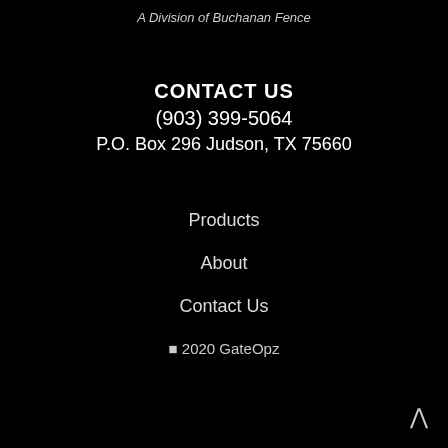A Division of Buchanan Fence
CONTACT US
(903) 399-5064
P.O. Box 296 Judson, TX 75660
Products
About
Contact Us
© 2020 GateOpz
^